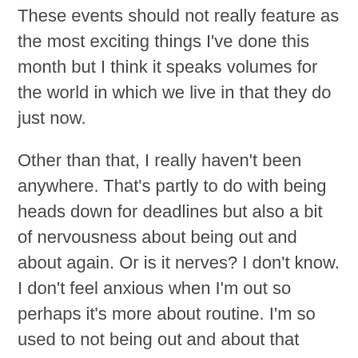These events should not really feature as the most exciting things I've done this month but I think it speaks volumes for the world in which we live in that they do just now.
Other than that, I really haven't been anywhere. That's partly to do with being heads down for deadlines but also a bit of nervousness about being out and about again. Or is it nerves? I don't know. I don't feel anxious when I'm out so perhaps it's more about routine. I'm so used to not being out and about that home feels more comfortable. And safer. And less peopley. Really must try to leave the house more than three or four times in June!
Hope your May was kind to you. Welcome June…
Big hugs